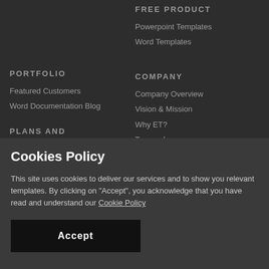FREE PRODUCT
Powerpoint Templates
Word Templates
PORTFOLIO
Featured Customers
Word Documentation Blog
PLANS AND PRICING
COMPANY
Company Overview
Vision & Mission
Why ET?
Terms of use
Cookies Policy
This site uses cookies to deliver our services and to show you relevant templates. By clicking on "Accept", you acknowledge that you have read and understand our Cookie Policy
Accept